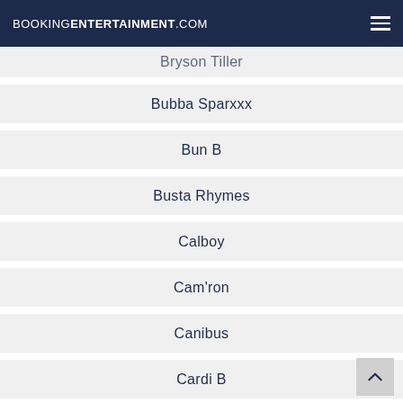BOOKINGENTERTAINMENT.COM
Bryson Tiller
Bubba Sparxxx
Bun B
Busta Rhymes
Calboy
Cam'ron
Canibus
Cardi B
Cassidy
Chamillionaire